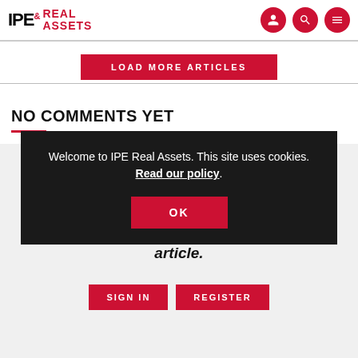IPE Real Assets
LOAD MORE ARTICLES
NO COMMENTS YET
Only registered users can comment on this article.
SIGN IN  REGISTER
Welcome to IPE Real Assets. This site uses cookies. Read our policy.
OK